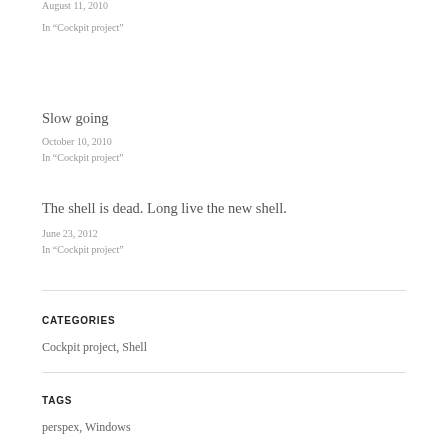August 11, 2010
In “Cockpit project”
Slow going
October 10, 2010
In “Cockpit project”
The shell is dead. Long live the new shell.
June 23, 2012
In “Cockpit project”
CATEGORIES
Cockpit project, Shell
TAGS
perspex, Windows